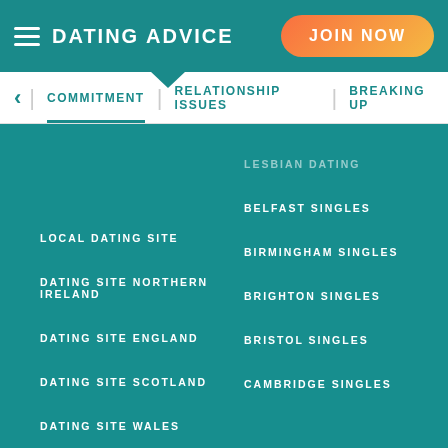DATING ADVICE
JOIN NOW
COMMITMENT | RELATIONSHIP ISSUES | BREAKING UP
LESBIAN DATING
LOCAL DATING SITE
BELFAST SINGLES
DATING SITE NORTHERN IRELAND
BIRMINGHAM SINGLES
DATING SITE ENGLAND
BRIGHTON SINGLES
DATING SITE SCOTLAND
BRISTOL SINGLES
DATING SITE WALES
CAMBRIDGE SINGLES